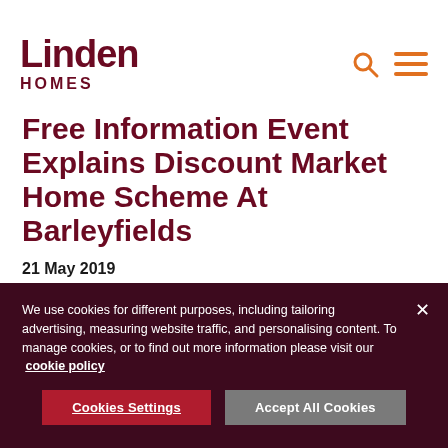Linden HOMES
Free Information Event Explains Discount Market Home Scheme At Barleyfields
21 May 2019
We use cookies for different purposes, including tailoring advertising, measuring website traffic, and personalising content. To manage cookies, or to find out more information please visit our cookie policy
Cookies Settings | Accept All Cookies